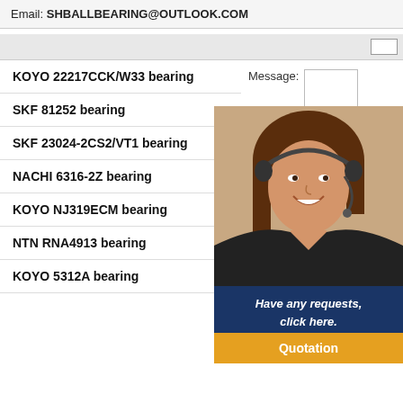Email: SHBALLBEARING@OUTLOOK.COM
KOYO 22217CCK/W33 bearing
SKF 81252 bearing
SKF 23024-2CS2/VT1 bearing
NACHI 6316-2Z bearing
KOYO NJ319ECM bearing
NTN RNA4913 bearing
KOYO 5312A bearing
Message:
24/7 Online
RE
[Figure (photo): Customer service representative wearing headset, smiling]
Have any requests, click here.
Quotation
NSK NU320 B
SKF NSK NT
Rolling Body: Roller BearingsThe 115mm)Mate
SKF KOYO NTN SNR NSK NU3
Rolling Body: Roller BearingsThe 115mm)Material: Bearing SteelS
SKF NSK Timken Koyo NTN C